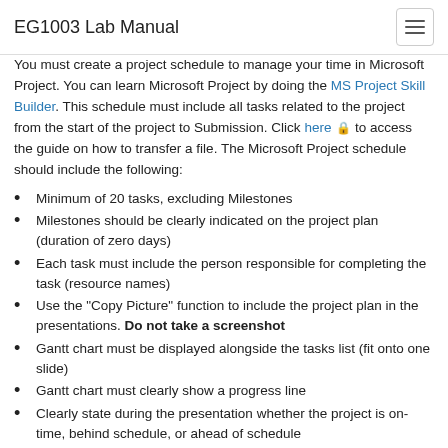EG1003 Lab Manual
You must create a project schedule to manage your time in Microsoft Project. You can learn Microsoft Project by doing the MS Project Skill Builder. This schedule must include all tasks related to the project from the start of the project to Submission. Click here 🔒 to access the guide on how to transfer a file. The Microsoft Project schedule should include the following:
Minimum of 20 tasks, excluding Milestones
Milestones should be clearly indicated on the project plan (duration of zero days)
Each task must include the person responsible for completing the task (resource names)
Use the "Copy Picture" function to include the project plan in the presentations. Do not take a screenshot
Gantt chart must be displayed alongside the tasks list (fit onto one slide)
Gantt chart must clearly show a progress line
Clearly state during the presentation whether the project is on-time, behind schedule, or ahead of schedule
For help planning the project, review the manual page Planning Project Scheduling & Costs